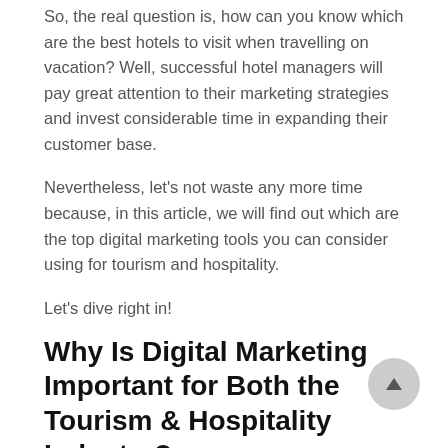So, the real question is, how can you know which are the best hotels to visit when travelling on vacation? Well, successful hotel managers will pay great attention to their marketing strategies and invest considerable time in expanding their customer base.
Nevertheless, let's not waste any more time because, in this article, we will find out which are the top digital marketing tools you can consider using for tourism and hospitality.
Let's dive right in!
Why Is Digital Marketing Important for Both the Tourism & Hospitality Industry?
Digital marketing has evolved to a point where you can stay online both for the tourism & hospital industry. Reaching out to travelers is as easy as ever, whether you are on your laptop, phone, or whatever you use for communication.